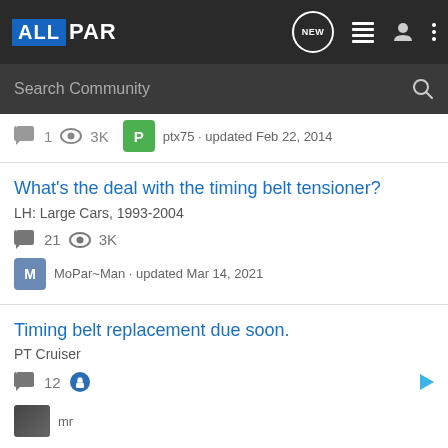ALLPAR - navigation bar with logo, NEW, list, user, and menu icons
Search Community
1  3K  ptx75 · updated Feb 22, 2014
What's the deal with the timing belt tensioner?
LH: Large Cars, 1993-2004
21  3K  MoPar~Man · updated Mar 14, 2021
Timing belt replacement due soon.
PT Cruiser
12  mr